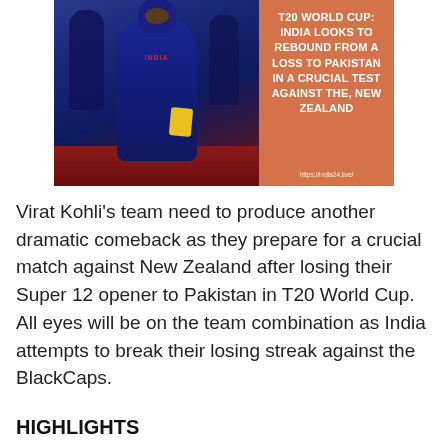[Figure (photo): Composite image: left side shows the Indian cricket team in blue jerseys on a pitch (with main player in foreground), right side is an orange panel with white bold text reading 'T20 WORLD CUP: INDIA LOOKS TO REBOUND FROM A LOSS TO PAKISTAN IN A CRUCIAL TEST AGAINST THE, NEW ZEALAND' and URL 'https://india24.live/']
Virat Kohli's team need to produce another dramatic comeback as they prepare for a crucial match against New Zealand after losing their Super 12 opener to Pakistan in T20 World Cup. All eyes will be on the team combination as India attempts to break their losing streak against the BlackCaps.
HIGHLIGHTS